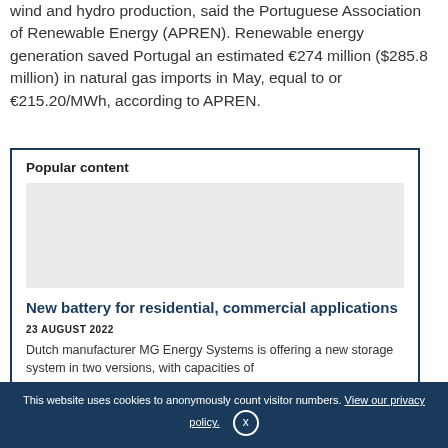wind and hydro production, said the Portuguese Association of Renewable Energy (APREN). Renewable energy generation saved Portugal an estimated €274 million ($285.8 million) in natural gas imports in May, equal to or €215.20/MWh, according to APREN.
Popular content
[Figure (photo): Gray placeholder image for popular content article]
New battery for residential, commercial applications
23 AUGUST 2022
Dutch manufacturer MG Energy Systems is offering a new storage system in two versions, with capacities of
This website uses cookies to anonymously count visitor numbers. View our privacy policy. ×